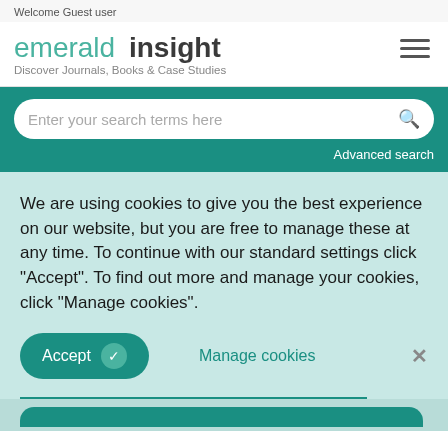Welcome Guest user
emerald insight — Discover Journals, Books & Case Studies
Enter your search terms here
Advanced search
We are using cookies to give you the best experience on our website, but you are free to manage these at any time. To continue with our standard settings click "Accept". To find out more and manage your cookies, click "Manage cookies".
Accept
Manage cookies